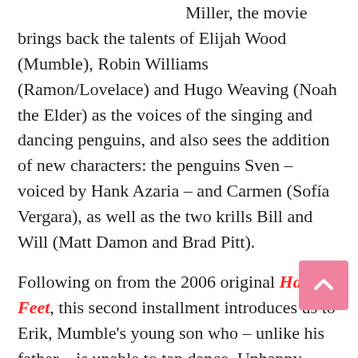Miller, the movie brings back the talents of Elijah Wood (Mumble), Robin Williams (Ramon/Lovelace) and Hugo Weaving (Noah the Elder) as the voices of the singing and dancing penguins, and also sees the addition of new characters: the penguins Sven – voiced by Hank Azaria – and Carmen (Sofía Vergara), as well as the two krills Bill and Will (Matt Damon and Brad Pitt).
Following on from the 2006 original Happy Feet, this second installment introduces us to Erik, Mumble's young son who – unlike his father – is unable to tap dance. Unhappy about being seen as 'different', Erik sets out to find himself and meets Sven, a penguin who can fly. Fascinated by